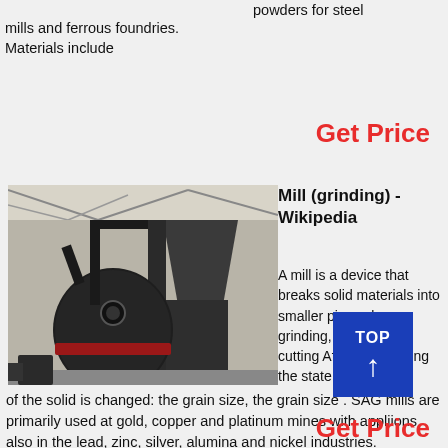powders for steel mills and ferrous foundries. Materials include
Get Price
[Figure (photo): Industrial grinding mill equipment inside a factory building, showing a large black cylindrical mill with pipes and a hopper structure.]
Mill (grinding) - Wikipedia
A mill is a device that breaks solid materials into smaller pieces by grinding, crushing, or cutting After the grinding the state of the solid is changed: the grain size, the grain size . SAG mills are primarily used at gold, copper and platinum mines with appliions also in the lead, zinc, silver, alumina and nickel industries.
Get Price